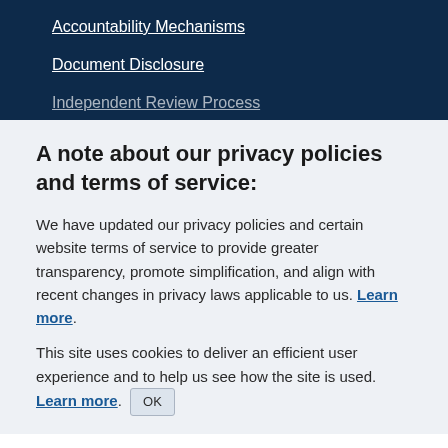Accountability Mechanisms
Document Disclosure
Independent Review Process
A note about our privacy policies and terms of service:
We have updated our privacy policies and certain website terms of service to provide greater transparency, promote simplification, and align with recent changes in privacy laws applicable to us. Learn more.
This site uses cookies to deliver an efficient user experience and to help us see how the site is used. Learn more. OK